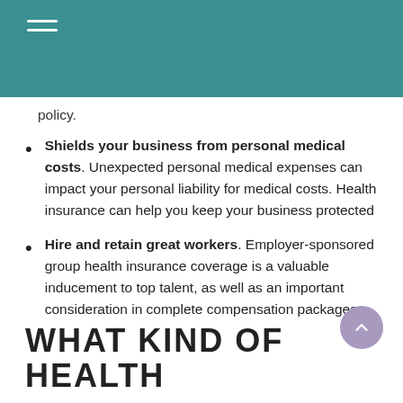policy.
Shields your business from personal medical costs. Unexpected personal medical expenses can impact your personal liability for medical costs. Health insurance can help you keep your business protected
Hire and retain great workers. Employer-sponsored group health insurance coverage is a valuable inducement to top talent, as well as an important consideration in complete compensation packages
WHAT KIND OF HEALTH